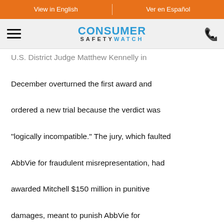View in English | Ver en Español
[Figure (logo): Consumer Safety Watch logo with hamburger menu and phone icon]
U.S. District Judge Matthew Kennelly in December overturned the first award and ordered a new trial because the verdict was “logically incompatible.” The jury, which faulted AbbVie for fraudulent misrepresentation, had awarded Mitchell $150 million in punitive damages, meant to punish AbbVie for wrongdoing, but nothing in compensatory damages, which are meant to compensate the plaintiff for losses suffered as a result of that wrongdoing.